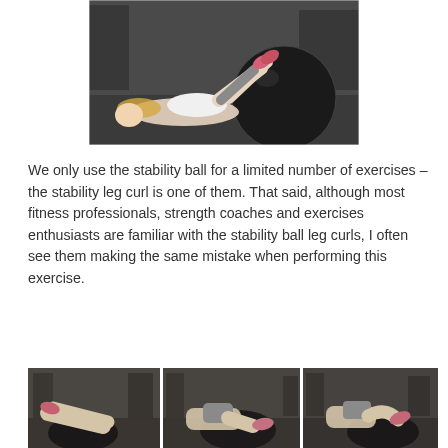[Figure (photo): A woman lying on the gym floor with her legs raised up resting on a large dark stability/exercise ball, photographed from the side in a gym setting.]
We only use the stability ball for a limited number of exercises – the stability leg curl is one of them. That said, although most fitness professionals, strength coaches and exercises enthusiasts are familiar with the stability ball leg curls, I often see them making the same mistake when performing this exercise.
[Figure (photo): Three sequential photos showing a person performing stability ball leg curls in a gym, demonstrating different phases of the exercise movement.]